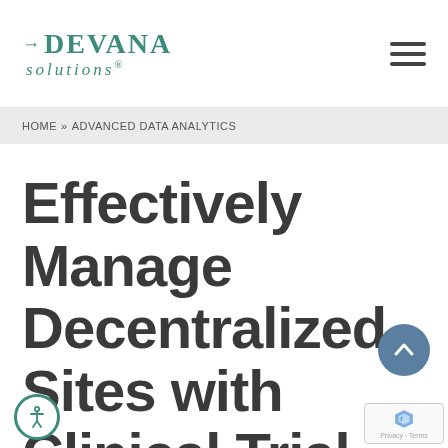[Figure (logo): Devana Solutions logo with teal arrow and serif text]
HOME » ADVANCED DATA ANALYTICS
Effectively Manage Decentralized Sites with Clinical Trial Software